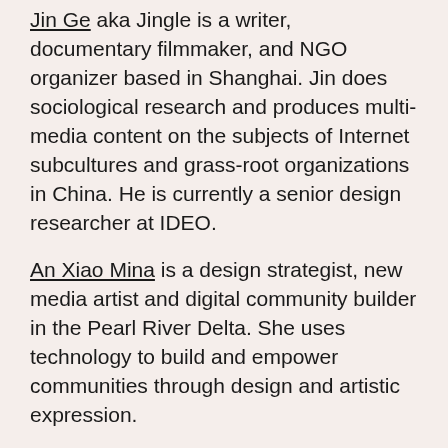Jin Ge aka Jingle is a writer, documentary filmmaker, and NGO organizer based in Shanghai. Jin does sociological research and produces multi-media content on the subjects of Internet subcultures and grass-root organizations in China. He is currently a senior design researcher at IDEO.
An Xiao Mina is a design strategist, new media artist and digital community builder in the Pearl River Delta. She uses technology to build and empower communities through design and artistic expression.
Graham Webster is a Beijing-based writer and analyst working at the intersection of politics, history, and information technology in China and East Asia. He believes technology and information design can reveal some of what what wonkdom can't.
Christina Xu is an observer and organizer of communities, both online and off-. She is particularly